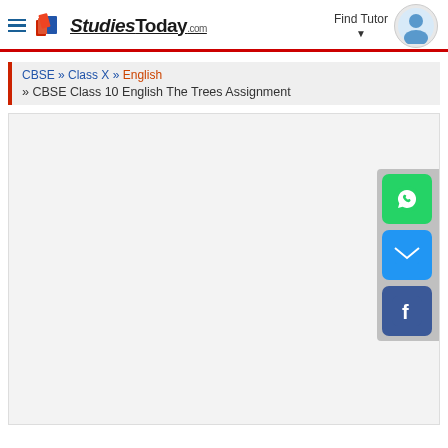StudiesToday.com — Find Tutor
CBSE » Class X » English » CBSE Class 10 English The Trees Assignment
[Figure (screenshot): Large white/light grey content area placeholder, with social sharing buttons on the right side (WhatsApp, Email, Facebook)]